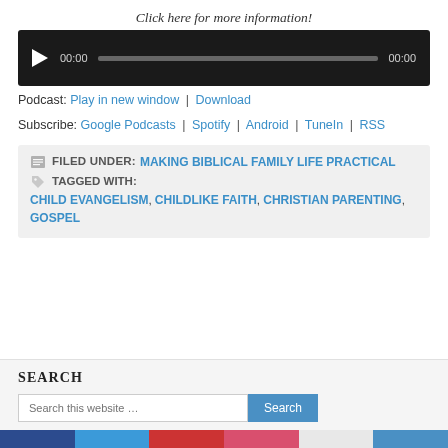Click here for more information!
[Figure (screenshot): Audio player bar with play button, progress bar, and timestamps showing 00:00]
Podcast: Play in new window | Download
Subscribe: Google Podcasts | Spotify | Android | TuneIn | RSS
FILED UNDER: MAKING BIBLICAL FAMILY LIFE PRACTICAL  TAGGED WITH: CHILD EVANGELISM, CHILDLIKE FAITH, CHRISTIAN PARENTING, GOSPEL
SEARCH
Search this website …
[Figure (screenshot): Colored strip bar at the bottom with blue, light blue, red, pink, light gray, and blue sections]